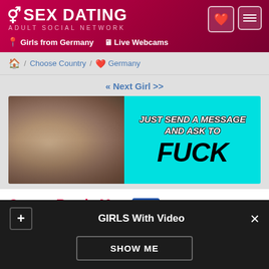SEX DATING ADULT SOCIAL NETWORK | Girls from Germany | Live Webcams
🏠 / Choose Country / ❤️ Germany
« Next Girl >>
[Figure (photo): Adult dating site advertisement banner with photo on left and cyan background with text on right reading JUST SEND A MESSAGE AND ASK TO FUCK]
Ocean. Ready Men NEW
[Figure (photo): Partial profile photo thumbnail]
GIRLS With Video
SHOW ME